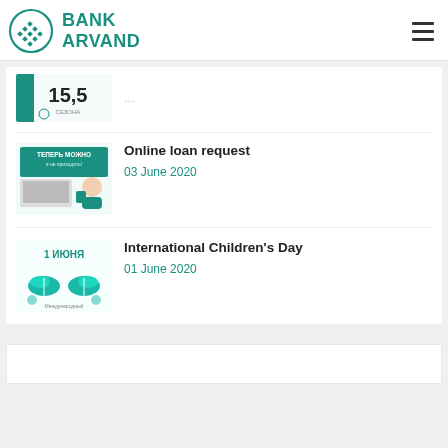BANK ARVAND
[Figure (screenshot): Thumbnail showing '15,5 сезона' text on teal/white background]
[Figure (screenshot): Thumbnail for Online loan request article: Russian text 'ТЕПЕРЬ МОЖНО и не приходить!' with laptop and person holding coffee]
Online loan request
03 June 2020
[Figure (screenshot): Thumbnail for International Children's Day: '1 ИЮНЯ' Russian text with teal sneakers illustration]
International Children's Day
01 June 2020